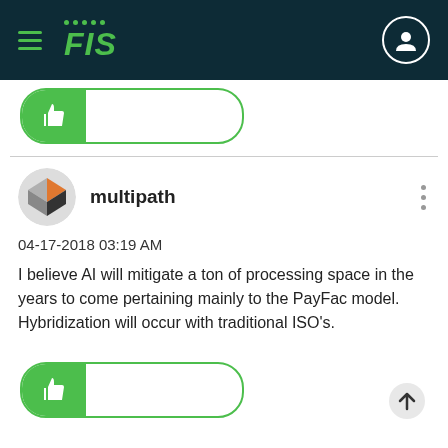[Figure (screenshot): FIS app navigation bar with hamburger menu, FIS logo in green, and user profile icon on dark teal background]
[Figure (other): Green thumbs-up like button with rounded pill shape and green border]
multipath
04-17-2018 03:19 AM
I believe AI will mitigate a ton of processing space in the years to come pertaining mainly to the PayFac model. Hybridization will occur with traditional ISO’s.
[Figure (other): Green thumbs-up like button with rounded pill shape and green border at bottom]